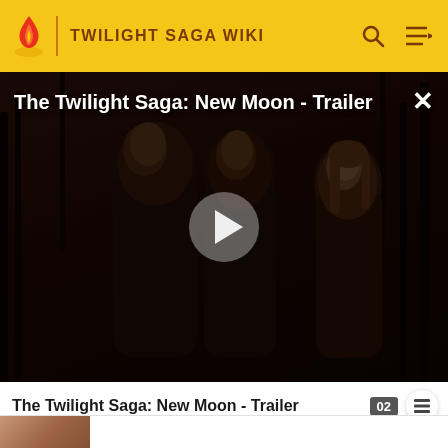TWILIGHT SAGA WIKI
[Figure (screenshot): Video thumbnail for The Twilight Saga: New Moon - Trailer showing three main characters against a dark forest background with a play button overlay]
The Twilight Saga: New Moon - Trailer
| Photo | Actor | Character |
| --- | --- | --- |
| [photo] |  |  |
| [photo] | Peter Facinelli | Carlisle Cullen |